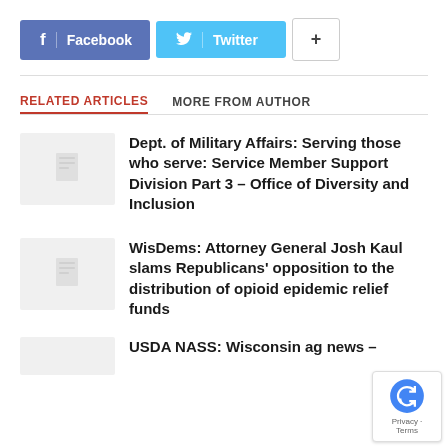[Figure (other): Social sharing buttons: Facebook (purple), Twitter (blue), and a plus button]
RELATED ARTICLES   MORE FROM AUTHOR
Dept. of Military Affairs: Serving those who serve: Service Member Support Division Part 3 – Office of Diversity and Inclusion
WisDems: Attorney General Josh Kaul slams Republicans' opposition to the distribution of opioid epidemic relief funds
USDA NASS: Wisconsin ag news –